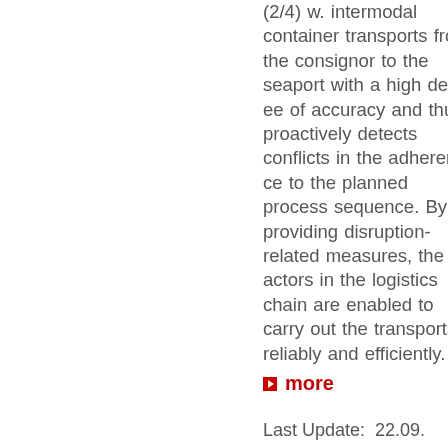(2/4) w. intermodal container transports from the consignor to the seaport with a high degree of accuracy and thus proactively detects conflicts in the adherence to the planned process sequence. By providing disruption-related measures, the actors in the logistics chain are enabled to carry out the transports reliably and efficiently.
▶ more
Last Update: 22.09.